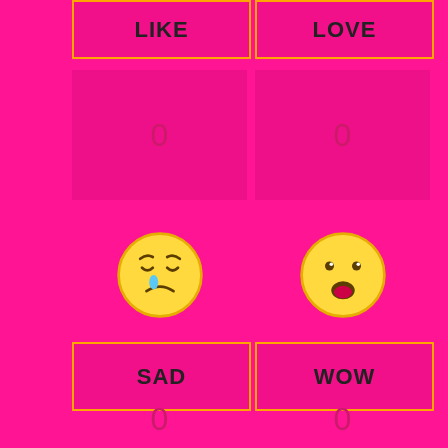LIKE
LOVE
0
0
[Figure (illustration): Sad face emoji - yellow circle with closed eyes and a teardrop]
[Figure (illustration): Wow/surprised face emoji - yellow circle with open mouth]
SAD
WOW
0
0